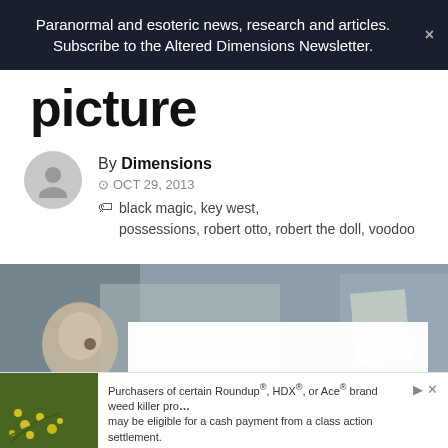Paranormal and esoteric news, research and articles. Subscribe to the Altered Dimensions Newsletter.
picture
By Dimensions
⊙ OCT 29, 2013  ◆ black magic, key west, possessions, robert otto, robert the doll, voodoo
[Figure (photo): Photo of Robert the doll artifact, partially covered by a white overlay card. Brown paper bags and letters visible in background.]
[Figure (photo): Advertisement banner: plant with yellow flowers on left. Text: Purchasers of certain Roundup®, HDX®, or Ace® brand weed killer products may be eligible for a cash payment from a class action settlement. Visit www.WeedKillerAdSettlement.com to learn more.]